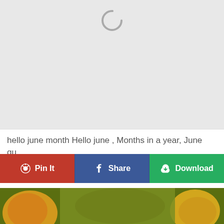[Figure (screenshot): Loading spinner (circular arc) on a light gray background]
hello june month Hello june , Months in a year, June qu...
[Figure (other): Three action buttons: Pin It (red), Share (blue/Facebook), Download (green)]
[Figure (photo): Close-up photograph of yellow-orange flowers with blurred olive/yellow background]